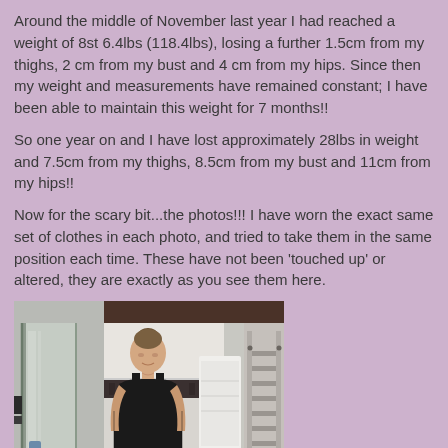Around the middle of November last year I had reached a weight of 8st 6.4lbs (118.4lbs), losing a further 1.5cm from my thighs, 2 cm from my bust and 4 cm from my hips. Since then my weight and measurements have remained constant; I have been able to maintain this weight for 7 months!!
So one year on and I have lost approximately 28lbs in weight and 7.5cm from my thighs, 8.5cm from my bust and 11cm from my hips!!
Now for the scary bit...the photos!!! I have worn the exact same set of clothes in each photo, and tried to take them in the same position each time. These have not been 'touched up' or altered, they are exactly as you see them here.
[Figure (photo): A woman in a black top standing in a bathroom with a shower enclosure on the left and a towel rail on the right.]